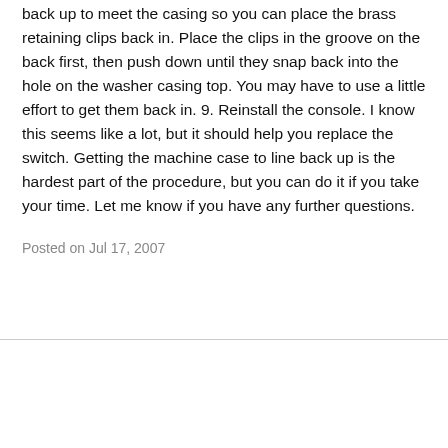back up to meet the casing so you can place the brass retaining clips back in. Place the clips in the groove on the back first, then push down until they snap back into the hole on the washer casing top. You may have to use a little effort to get them back in. 9. Reinstall the console. I know this seems like a lot, but it should help you replace the switch. Getting the machine case to line back up is the hardest part of the procedure, but you can do it if you take your time. Let me know if you have any further questions.
Posted on Jul 17, 2007